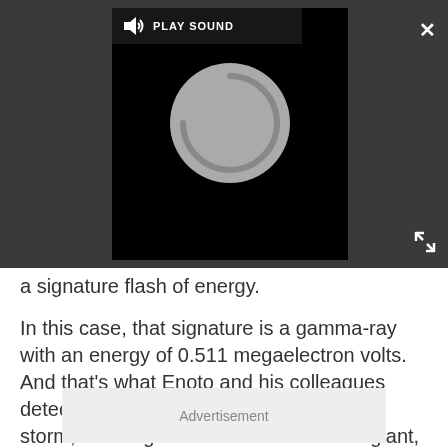[Figure (screenshot): Dark gray media player overlay with a video player showing a spinning/loading circle on black background. A 'PLAY SOUND' button bar is at the top of the video. A white X close button is at the top right. An expand icon is at the bottom right of the overlay.]
a signature flash of energy.
In this case, that signature is a gamma-ray with an energy of 0.511 megaelectron volts. And that's what Enoto and his colleagues detected streaming down from a lightning storm, showing that a thunderhead is a giant, natural particle accelerator drifting through the sky.
Advertisement